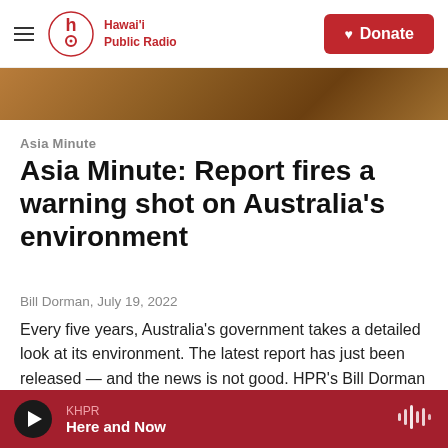Hawai'i Public Radio — Donate
[Figure (photo): Partial image strip showing warm brown/orange tones, likely a landscape or fire-related photo]
Asia Minute
Asia Minute: Report fires a warning shot on Australia's environment
Bill Dorman, July 19, 2022
Every five years, Australia's government takes a detailed look at its environment. The latest report has just been released — and the news is not good. HPR's Bill Dorman has more in this Asia Minute.
KHPR — Here and Now